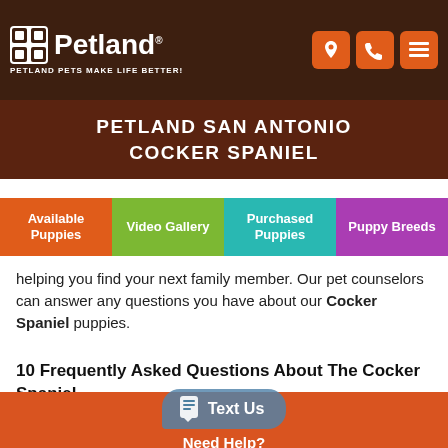Petland - Petland Pets Make Life Better!
PETLAND SAN ANTONIO COCKER SPANIEL
Available Puppies | Video Gallery | Purchased Puppies | Puppy Breeds
helping you find your next family member. Our pet counselors can answer any questions you have about our Cocker Spaniel puppies.
10 Frequently Asked Questions About The Cocker Spaniel
What colors do Cocker Spaniels come in?
The cocker spaniel could come in a solid color or a